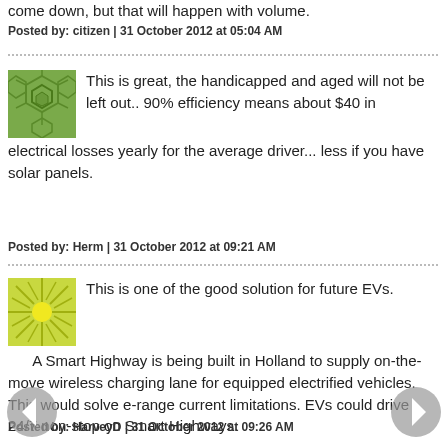come down, but that will happen with volume.
Posted by: citizen | 31 October 2012 at 05:04 AM
[Figure (illustration): Green hexagonal pattern avatar icon]
This is great, the handicapped and aged will not be left out.. 90% efficiency means about $40 in electrical losses yearly for the average driver... less if you have solar panels.
Posted by: Herm | 31 October 2012 at 09:21 AM
[Figure (illustration): Yellow-green sunburst pattern avatar icon]
This is one of the good solution for future EVs.
A Smart Highway is being built in Holland to supply on-the-move wireless charging lane for equipped electrified vehicles. This would solve e-range current limitations. EVs could drive 24/7 non-stop on Smart Highways.
Posted by: HarveyD | 31 October 2012 at 09:26 AM